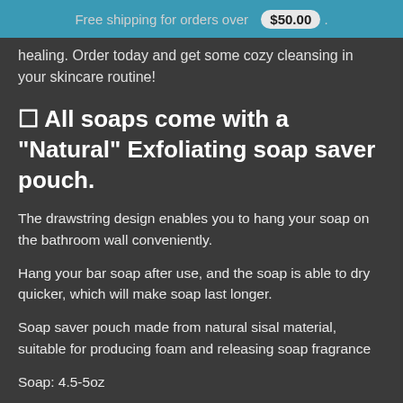Free shipping for orders over $50.00 .
healing. Order today and get some cozy cleansing in your skincare routine!
✦ All soaps come with a "Natural" Exfoliating soap saver pouch.
The drawstring design enables you to hang your soap on the bathroom wall conveniently.
Hang your bar soap after use, and the soap is able to dry quicker, which will make soap last longer.
Soap saver pouch made from natural sisal material, suitable for producing foam and releasing soap fragrance
Soap: 4.5-5oz